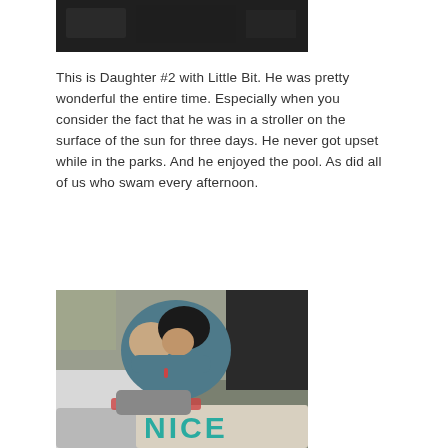[Figure (photo): Dark/nighttime outdoor photo cropped at top of page]
This is Daughter #2 with Little Bit.  He was pretty wonderful the entire time.  Especially when you consider the fact that he was in a stroller on the surface of the sun for three days.  He never got upset while in the parks.  And he enjoyed the pool.  As did all of us who swam every afternoon.
[Figure (photo): Photo of a woman kissing/nuzzling a baby on a bed, with a pillow that has 'NICE' text in teal letters visible in the foreground]